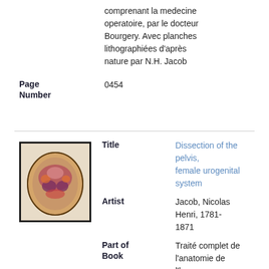comprenant la medecine operatoire, par le docteur Bourgery. Avec planches lithographiées d'après nature par N.H. Jacob
Page Number
0454
[Figure (illustration): Anatomical illustration showing a dissection of the pelvis, female urogenital system, oval-shaped cross-section view with colored internal organs]
Title
Dissection of the pelvis, female urogenital system
Artist
Jacob, Nicolas Henri, 1781-1871
Part of Book
Traité complet de l'anatomie de l'homme comprenant la medecine operatoire, par le docteur Bourgery. Avec planches lithographiées d'après